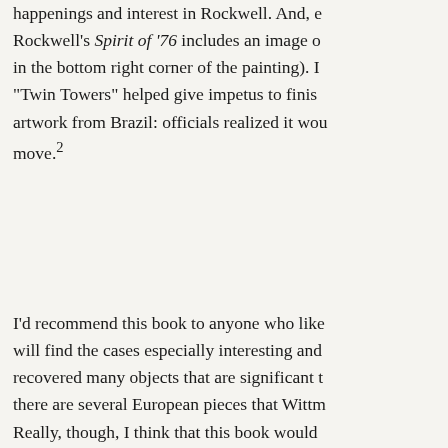happenings and interest in Rockwell. And, e... Rockwell's Spirit of '76 includes an image o... in the bottom right corner of the painting). I... "Twin Towers" helped give impetus to finis... artwork from Brazil: officials realized it wo... move.2
I'd recommend this book to anyone who lik... will find the cases especially interesting and... recovered many objects that are significant t... there are several European pieces that Wittm... Really, though, I think that this book would... interested in art and art crime.
1 I can't help but add that Rockwell's composition was inspired b... ("Yankee Doodle," the linked version dates c. 1875)
2 Robert K. Wittman, Priceless: How I Went Undercover to Resc... Crown Publishers, 2010), 174.